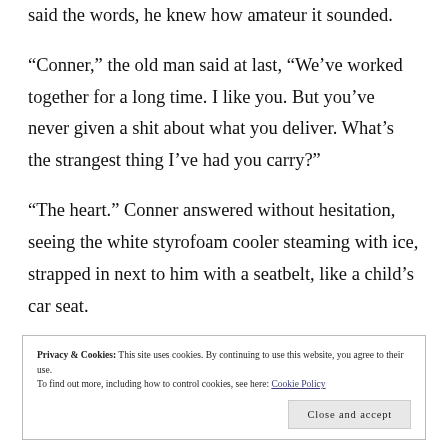said the words, he knew how amateur it sounded.
“Conner,” the old man said at last, “We’ve worked together for a long time. I like you. But you’ve never given a shit about what you deliver. What’s the strangest thing I’ve had you carry?”
“The heart.” Conner answered without hesitation, seeing the white styrofoam cooler steaming with ice, strapped in next to him with a seatbelt, like a child’s car seat.
Privacy & Cookies: This site uses cookies. By continuing to use this website, you agree to their use.
To find out more, including how to control cookies, see here: Cookie Policy
Close and accept